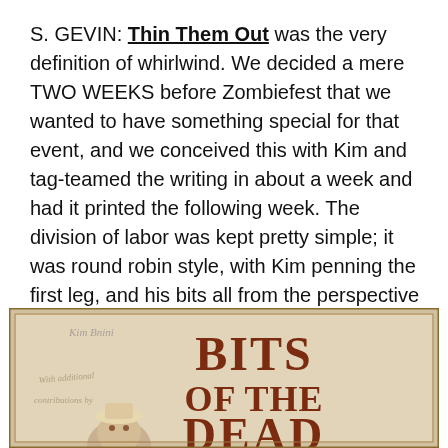S. GEVIN: Thin Them Out was the very definition of whirlwind. We decided a mere TWO WEEKS before Zombiefest that we wanted to have something special for that event, and we conceived this with Kim and tag-teamed the writing in about a week and had it printed the following week. The division of labor was kept pretty simple; it was round robin style, with Kim penning the first leg, and his bits all from the perspective of a single zombie who is starting to gain some degree of sentience. RJ's bits are those centering around Wayne, and my bits are those featuring Sue, a fairly awful lady. I accessed some of my worst tendencies to write her. Sue is an anti-Mary Sue.
[Figure (illustration): Book cover for 'Bits of the Dead' showing the title text in large distressed horror-style lettering in dark brown/red, with a zombie figure visible at the bottom, and author names in lighter script text at the top. Background is aged/textured paper look.]